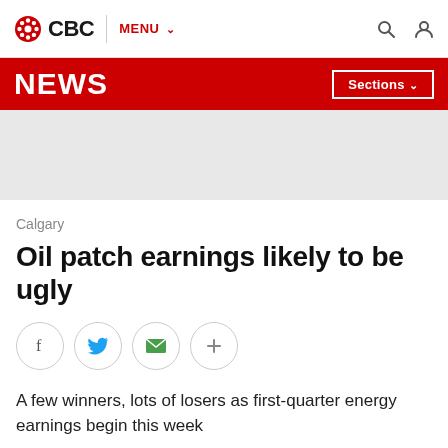CBC | MENU
NEWS  Sections
[Figure (other): Grey advertisement placeholder banner]
Calgary
Oil patch earnings likely to be ugly
[Figure (other): Social sharing buttons: Facebook, Twitter, Email, More (+)]
A few winners, lots of losers as first-quarter energy earnings begin this week